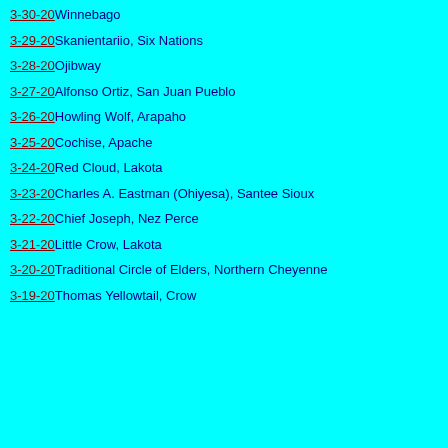3-30-20 Winnebago
3-29-20 Skanientariio, Six Nations
3-28-20 Ojibway
3-27-20 Alfonso Ortiz, San Juan Pueblo
3-26-20 Howling Wolf, Arapaho
3-25-20 Cochise, Apache
3-24-20 Red Cloud, Lakota
3-23-20 Charles A. Eastman (Ohiyesa), Santee Sioux
3-22-20 Chief Joseph, Nez Perce
3-21-20 Little Crow, Lakota
3-20-20 Traditional Circle of Elders, Northern Cheyenne
3-19-20 Thomas Yellowtail, Crow